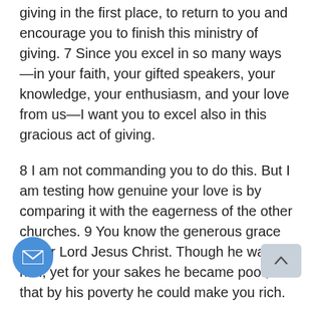giving in the first place, to return to you and encourage you to finish this ministry of giving. 7 Since you excel in so many ways—in your faith, your gifted speakers, your knowledge, your enthusiasm, and your love from us—I want you to excel also in this gracious act of giving.
8 I am not commanding you to do this. But I am testing how genuine your love is by comparing it with the eagerness of the other churches. 9 You know the generous grace of our Lord Jesus Christ. Though he was rich, yet for your sakes he became poor, so that by his poverty he could make you rich.
10 Here is my advice: It would be good for you to finish what you started a year ago. Last year you were the first who wanted to give, and you were the